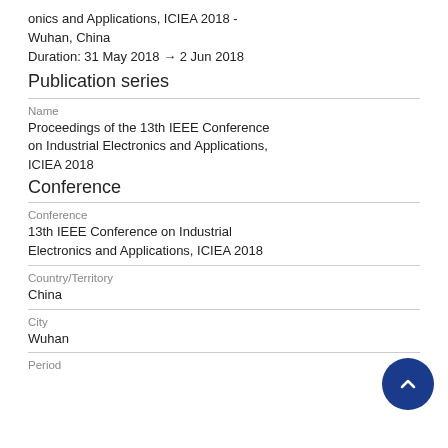onics and Applications, ICIEA 2018 - Wuhan, China
Duration: 31 May 2018 → 2 Jun 2018
Publication series
Name
Proceedings of the 13th IEEE Conference on Industrial Electronics and Applications, ICIEA 2018
Conference
Conference
13th IEEE Conference on Industrial Electronics and Applications, ICIEA 2018
Country/Territory
China
City
Wuhan
Period